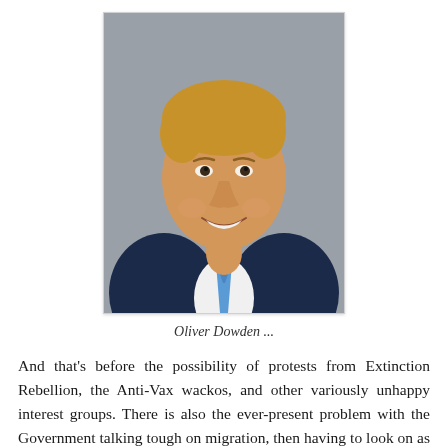[Figure (photo): Portrait photo of Oliver Dowden, a middle-aged man with blonde hair wearing a dark navy suit and blue patterned tie, against a grey background.]
Oliver Dowden ...
And that's before the possibility of protests from Extinction Rebellion, the Anti-Vax wackos, and other variously unhappy interest groups. There is also the ever-present problem with the Government talking tough on migration, then having to look on as more of those small boats rock up on the south